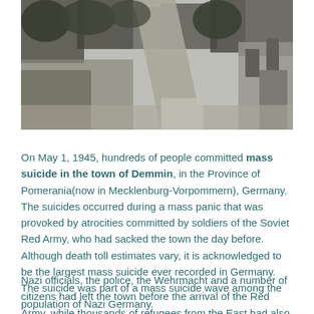[Figure (photo): Black and white aerial photograph showing a town with buildings, trees, and a road running through it, appearing to show war damage or destruction.]
On May 1, 1945, hundreds of people committed mass suicide in the town of Demmin, in the Province of Pomerania(now in Mecklenburg-Vorpommern), Germany. The suicides occurred during a mass panic that was provoked by atrocities committed by soldiers of the Soviet Red Army, who had sacked the town the day before. Although death toll estimates vary, it is acknowledged to be the largest mass suicide ever recorded in Germany. The suicide was part of a mass suicide wave among the population of Nazi Germany.
Nazi officials, the police, the Wehrmacht and a number of citizens had left the town before the arrival of the Red Army, while thousands of refugees from the East had also